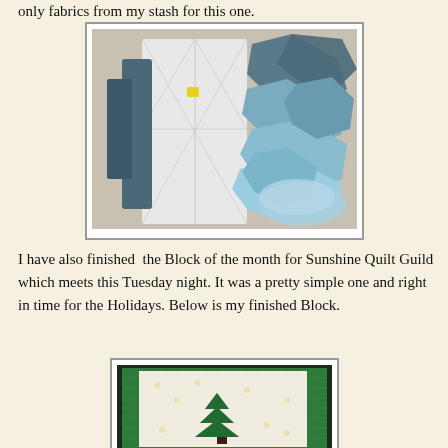only fabrics from my stash for this one.
[Figure (photo): Photo of quilt fabric pieces and pattern: a folded quilt pattern/template and blue fabric pieces scattered around it, on a light surface.]
I have also finished  the Block of the month for Sunshine Quilt Guild which meets this Tuesday night. It was a pretty simple one and right in time for the Holidays. Below is my finished Block.
[Figure (photo): Photo of a holiday quilt block featuring a green Christmas tree shape on a white/cream background, placed on a green cutting mat.]